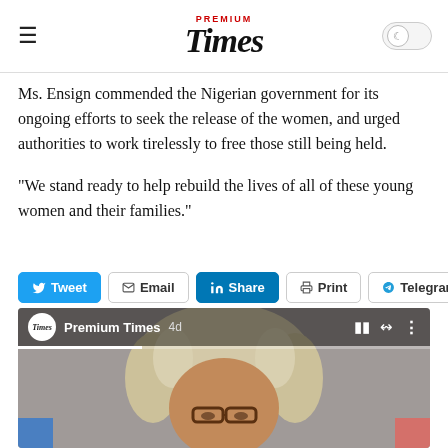PREMIUM Times
Ms. Ensign commended the Nigerian government for its ongoing efforts to seek the release of the women, and urged authorities to work tirelessly to free those still being held.
“We stand ready to help rebuild the lives of all of these young women and their families.”
[Figure (screenshot): Social share buttons: Tweet, Email, Share (LinkedIn), Print, Telegram, Share (Skype), More]
[Figure (photo): Video thumbnail showing a person wearing a judge's wig and glasses, with Premium Times channel info bar at top showing '4d' timestamp and playback controls]